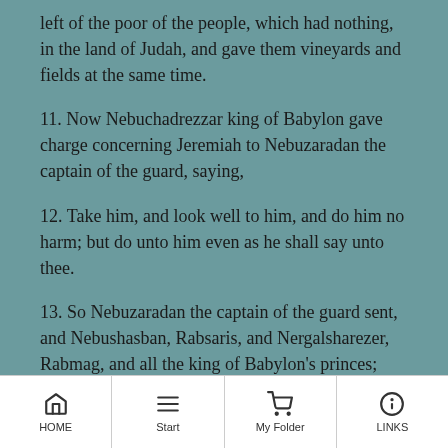left of the poor of the people, which had nothing, in the land of Judah, and gave them vineyards and fields at the same time.
11. Now Nebuchadrezzar king of Babylon gave charge concerning Jeremiah to Nebuzaradan the captain of the guard, saying,
12. Take him, and look well to him, and do him no harm; but do unto him even as he shall say unto thee.
13. So Nebuzaradan the captain of the guard sent, and Nebushasban, Rabsaris, and Nergalsharezer, Rabmag, and all the king of Babylon's princes;
HOME | Start | My Folder | LINKS